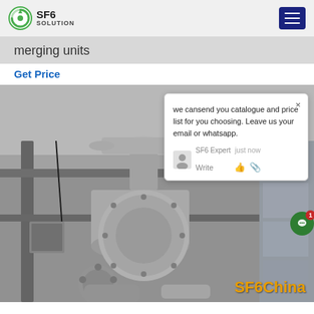SF6 SOLUTION
merging units
Get Price
[Figure (photo): Industrial SF6 gas-insulated switchgear / merging units mounted on metal framework, viewed from below, gray cylindrical flanged components with bolted connections, overlaid with a chat popup dialog and SF6China branding]
we cansend you catalogue and price list for you choosing. Leave us your email or whatsapp.
SF6China